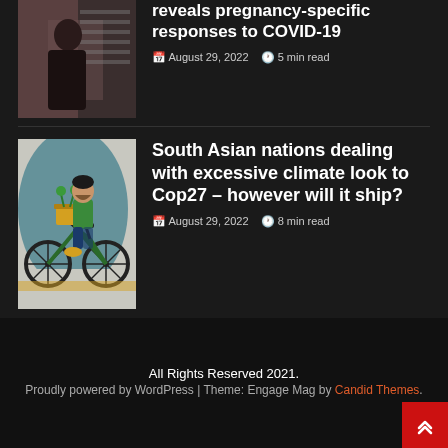[Figure (photo): Partial view of article thumbnail - pregnancy/COVID topic, woman in dark clothing near window]
reveals pregnancy-specific responses to COVID-19
August 29, 2022  5 min read
[Figure (illustration): Illustration of a person with a beard riding a bicycle, carrying a basket of plants, on a teal/grey background]
South Asian nations dealing with excessive climate look to Cop27 – however will it ship?
August 29, 2022  8 min read
All Rights Reserved 2021. Proudly powered by WordPress | Theme: Engage Mag by Candid Themes.